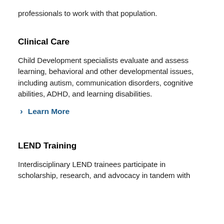professionals to work with that population.
Clinical Care
Child Development specialists evaluate and assess learning, behavioral and other developmental issues, including autism, communication disorders, cognitive abilities, ADHD, and learning disabilities.
Learn More
LEND Training
Interdisciplinary LEND trainees participate in scholarship, research, and advocacy in tandem with